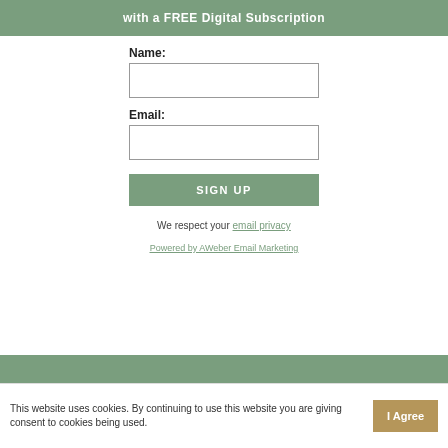with a FREE Digital Subscription
Name:
Email:
SIGN UP
We respect your email privacy
Powered by AWeber Email Marketing
This website uses cookies. By continuing to use this website you are giving consent to cookies being used.
I Agree